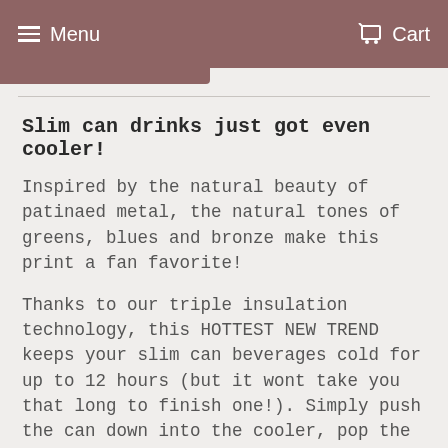Menu   Cart
Slim can drinks just got even cooler!
Inspired by the natural beauty of patinaed metal, the natural tones of greens, blues and bronze make this print a fan favorite!
Thanks to our triple insulation technology, this HOTTEST NEW TREND keeps your slim can beverages cold for up to 12 hours (but it wont take you that long to finish one!). Simply push the can down into the cooler, pop the top and enjoy. Then twist off the top ring to remove your empty can and repeat when you're ready for your next drink.